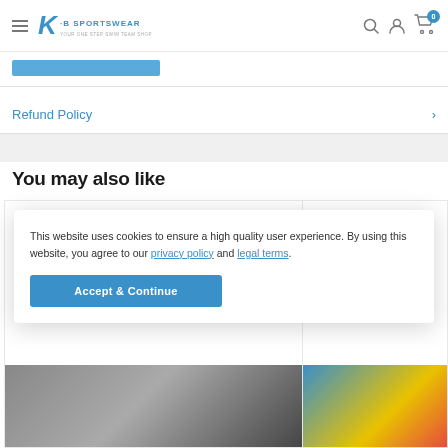K·B Sportswear — Your one-stop swim team shop
Refund Policy
You may also like
[Figure (screenshot): Product card with Save 27% badge]
This website uses cookies to ensure a high quality user experience. By using this website, you agree to our privacy policy and legal terms.
Accept & Continue